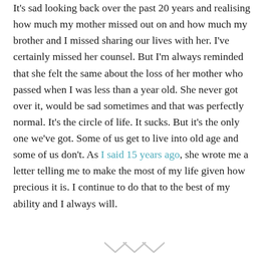It's sad looking back over the past 20 years and realising how much my mother missed out on and how much my brother and I missed sharing our lives with her. I've certainly missed her counsel. But I'm always reminded that she felt the same about the loss of her mother who passed when I was less than a year old. She never got over it, would be sad sometimes and that was perfectly normal. It's the circle of life. It sucks. But it's the only one we've got. Some of us get to live into old age and some of us don't. As I said 15 years ago, she wrote me a letter telling me to make the most of my life given how precious it is. I continue to do that to the best of my ability and I always will.
[Figure (illustration): Decorative chevron/arrow symbol at the bottom center of the page]